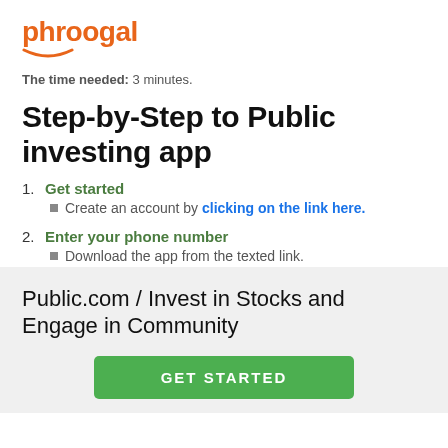[Figure (logo): Phroogal logo in orange with a smile underline]
The time needed: 3 minutes.
Step-by-Step to Public investing app
1. Get started
Create an account by clicking on the link here.
2. Enter your phone number
Download the app from the texted link.
Public.com / Invest in Stocks and Engage in Community
GET STARTED